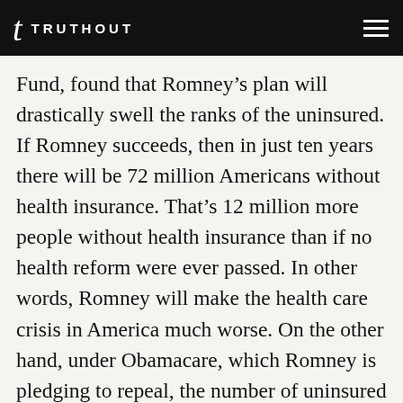TRUTHOUT
Fund, found that Romney’s plan will drastically swell the ranks of the uninsured. If Romney succeeds, then in just ten years there will be 72 million Americans without health insurance. That’s 12 million more people without health insurance than if no health reform were ever passed. In other words, Romney will make the health care crisis in America much worse. On the other hand, under Obamacare, which Romney is pledging to repeal, the number of uninsured Americans is set to fall from 48 million in 2011